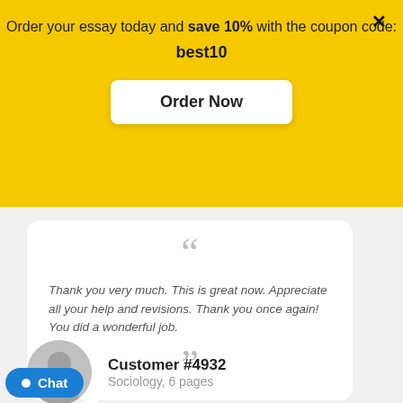Order your essay today and save 10% with the coupon code: best10
Order Now
×
Thank you very much. This is great now. Appreciate all your help and revisions. Thank you once again! You did a wonderful job.
Customer #4932
Sociology, 6 pages
Chat